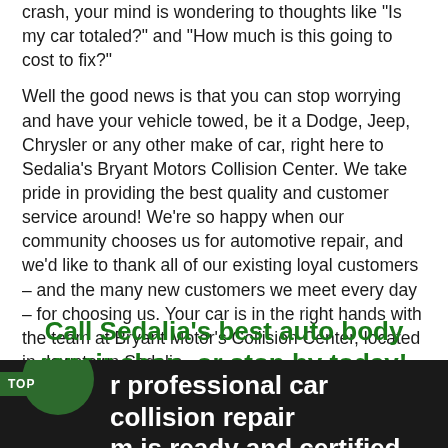crash, your mind is wondering to thoughts like "Is my car totaled?" and "How much is this going to cost to fix?"
Well the good news is that you can stop worrying and have your vehicle towed, be it a Dodge, Jeep, Chrysler or any other make of car, right here to Sedalia's Bryant Motors Collision Center. We take pride in providing the best quality and customer service around! We're so happy when our community chooses us for automotive repair, and we'd like to thank all of our existing loyal customers – and the many new customers we meet every day – for choosing us. Your car is in the right hands with the team at Bryant Motor's Collision Center, located in downtown Sedalia.
Call Sedalia's best auto body repair shop, or stop by today!
Our professional car collision repair team is ready and certified to take